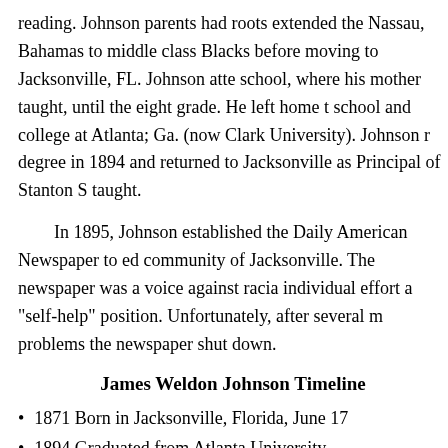reading. Johnson parents had roots extended the Nassau, Bahamas to middle class Blacks before moving to Jacksonville, FL. Johnson attended school, where his mother taught, until the eight grade. He left home to school and college at Atlanta; Ga. (now Clark University). Johnson received a degree in 1894 and returned to Jacksonville as Principal of Stanton School taught.
In 1895, Johnson established the Daily American Newspaper to educate the community of Jacksonville. The newspaper was a voice against racial injustice individual effort a "self-help" position. Unfortunately, after several months of problems the newspaper shut down.
James Weldon Johnson Timeline
1871 Born in Jacksonville, Florida, June 17
1894 Graduated from Atlanta University
1897 First black admitted to Florida bar